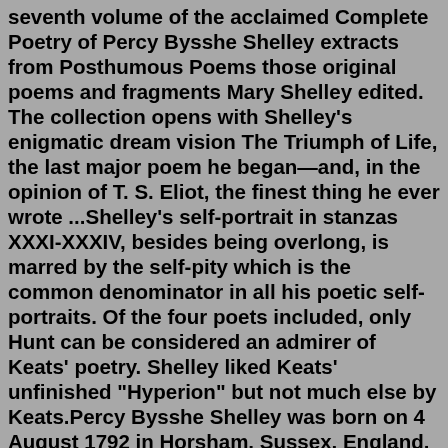seventh volume of the acclaimed Complete Poetry of Percy Bysshe Shelley extracts from Posthumous Poems those original poems and fragments Mary Shelley edited. The collection opens with Shelley's enigmatic dream vision The Triumph of Life, the last major poem he began—and, in the opinion of T. S. Eliot, the finest thing he ever wrote ...Shelley's self-portrait in stanzas XXXI-XXXIV, besides being overlong, is marred by the self-pity which is the common denominator in all his poetic self-portraits. Of the four poets included, only Hunt can be considered an admirer of Keats' poetry. Shelley liked Keats' unfinished "Hyperion" but not much else by Keats.Percy Bysshe Shelley was born on 4 August 1792 in Horsham, Sussex, England. He was the eldest of the seven children of Elizabeth Pilfold and Timothy Shelley, a country squire who would become baronet in 1815 on the death of his father. Young Percy attended Sion House Academy before entering University College, Oxford, in 1804.The poem is clear, sober, and to some extent, cynical. 10. To Night. To